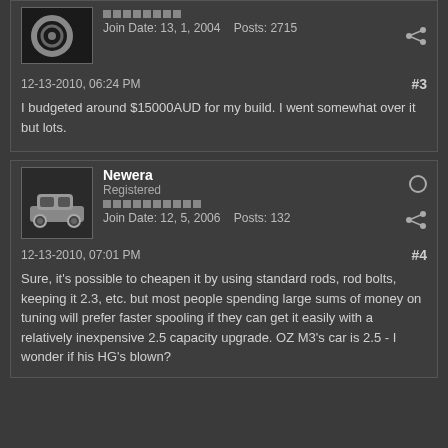Join Date: 13, 1, 2004   Posts: 2715
12-13-2010, 06:24 PM   #3
I budgeted around $15000AUD for my build. I went somewhat over it but lots.
Newera
Registered
Join Date: 12, 5, 2006   Posts: 132
12-13-2010, 07:01 PM   #4
Sure, it's possible to cheapen it by using standard rods, rod bolts, keeping it 2.3, etc. but most people spending large sums of money on tuning will prefer faster spooling if they can get it easily with a relatively inexpensive 2.5 capacity upgrade. OZ M3's car is 2.5 - I wonder if his HG's blown?